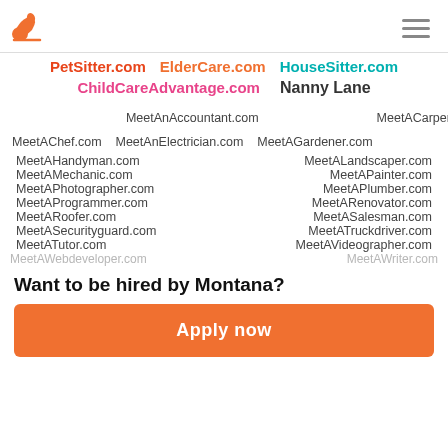Logo and navigation
PetSitter.com  ElderCare.com  HouseSitter.com
ChildCareAdvantage.com  Nanny Lane
MeetAnAccountant.com
MeetACarpenter.com
MeetAChef.com
MeetAnElectrician.com
MeetAGardener.com
MeetAHandyman.com
MeetALandscaper.com
MeetAMechanic.com
MeetAPainter.com
MeetAPhotographer.com
MeetAPlumber.com
MeetAProgrammer.com
MeetARenovator.com
MeetARoofer.com
MeetASalesman.com
MeetASecurityguard.com
MeetATruckdriver.com
MeetATutor.com
MeetAVideographer.com
MeetAWebdeveloper.com
MeetAWriter.com
Want to be hired by Montana?
Apply now